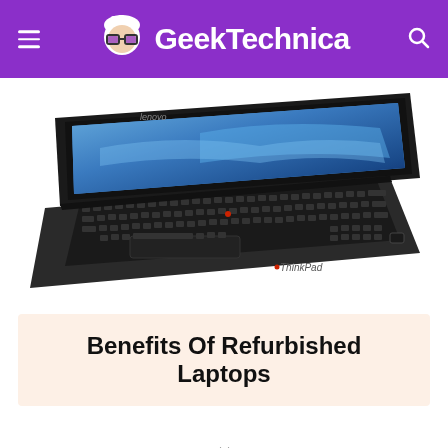GeekTechnica
[Figure (photo): Lenovo ThinkPad laptop opened at an angle showing the keyboard, trackpad, and screen with blue abstract wallpaper, photographed from above-front perspective on a white background]
Benefits Of Refurbished Laptops